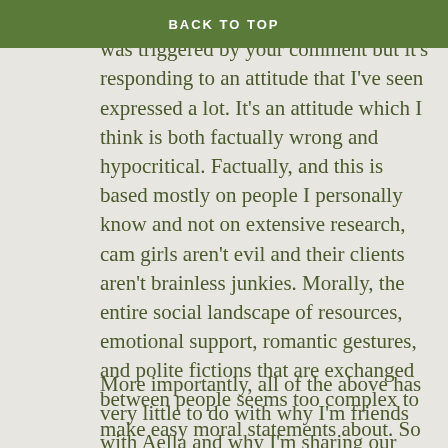BACK TO TOP
On a more serious note, it was triggered by your comment but it's responding to an attitude that I've seen expressed a lot. It's an attitude which I think is both factually wrong and hypocritical. Factually, and this is based mostly on people I personally know and not on extensive research, cam girls aren't evil and their clients aren't brainless junkies. Morally, the entire social landscape of resources, emotional support, romantic gestures, and polite fictions that are exchanged between people seems too complex to make easy moral statements about. So when someone carves out for condemnation the one thing that lets young women make money and lonely men feel better, I don't buy that it's driven by dispassionate utilitarianism.
More importantly, all of the above has very little to do with why I'm friends with Aella and why I'm sharing our conversation. We talked about her background